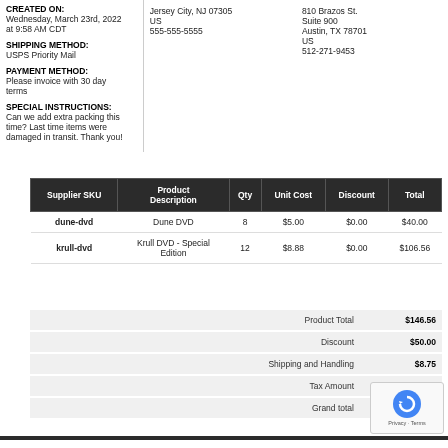CREATED ON:
Wednesday, March 23rd, 2022 at 9:58 AM CDT
SHIPPING METHOD:
USPS Priority Mail
PAYMENT METHOD:
Please invoice with 30 day terms
SPECIAL INSTRUCTIONS:
Can we add extra packing this time? Last time items were damaged in transit. Thank you!
Jersey City, NJ 07305
US
555-555-5555
810 Brazos St.
Suite 900
Austin, TX 78701
US
512-271-9453
| Supplier SKU | Product Description | Qty | Unit Cost | Discount | Total |
| --- | --- | --- | --- | --- | --- |
| dune-dvd | Dune DVD | 8 | $5.00 | $0.00 | $40.00 |
| krull-dvd | Krull DVD - Special Edition | 12 | $8.88 | $0.00 | $106.56 |
|  |  |
| --- | --- |
| Product Total | $146.56 |
| Discount | $50.00 |
| Shipping and Handling | $8.75 |
| Tax Amount | $8.69 |
| Grand total | $ |